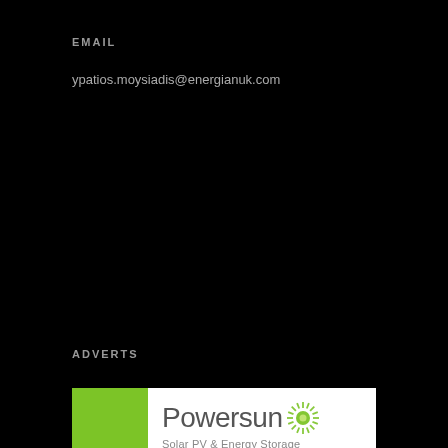EMAIL
ypatios.moysiadis@energianuk.com
ADVERTS
[Figure (illustration): Powersun Solar PV & Energy Storage advertisement. Left side shows a green block and solar panels image. Right side white panel with Powersun logo (sun burst icon), tagline 'We take care of your energy needs so you can concentrate on the important stuff...', and three bullet points: Minimise Energy Costs, Secure Long Term Income, Future Proof your Business.]